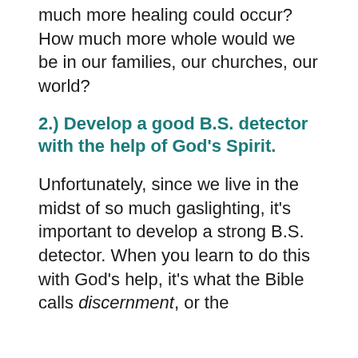much more healing could occur? How much more whole would we be in our families, our churches, our world?
2.) Develop a good B.S. detector with the help of God's Spirit.
Unfortunately, since we live in the midst of so much gaslighting, it's important to develop a strong B.S. detector. When you learn to do this with God's help, it's what the Bible calls discernment, or the